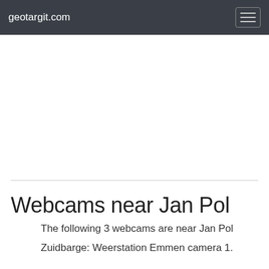geotargit.com
[Figure (other): Advertisement / blank white area]
Webcams near Jan Pol
The following 3 webcams are near Jan Pol
Zuidbarge: Weerstation Emmen camera 1.